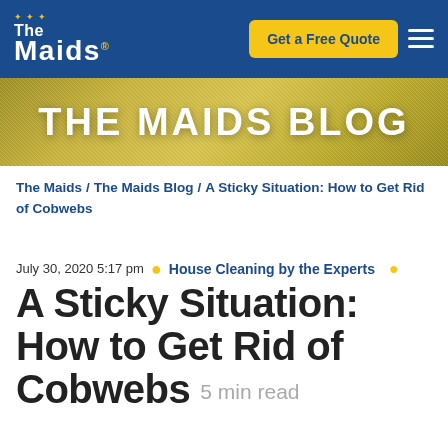The Maids — Navigation bar with Get a Free Quote button
[Figure (other): THE MAIDS BLOG banner with olive/gold background]
The Maids / The Maids Blog / A Sticky Situation: How to Get Rid of Cobwebs
July 30, 2020 5:17 pm • House Cleaning by the Experts
A Sticky Situation: How to Get Rid of Cobwebs 5 min read